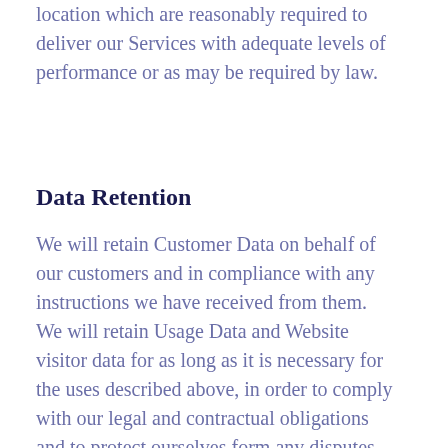location which are reasonably required to deliver our Services with adequate levels of performance or as may be required by law.
Data Retention
We will retain Customer Data on behalf of our customers and in compliance with any instructions we have received from them.
We will retain Usage Data and Website visitor data for as long as it is necessary for the uses described above, in order to comply with our legal and contractual obligations and to protect ourselves form any disputes and legal issues.